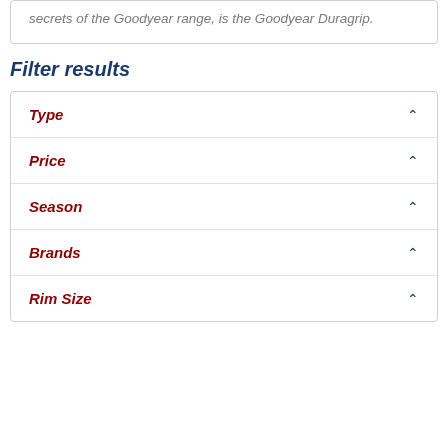secrets of the Goodyear range, is the Goodyear Duragrip.
Filter results
Type
Price
Season
Brands
Rim Size